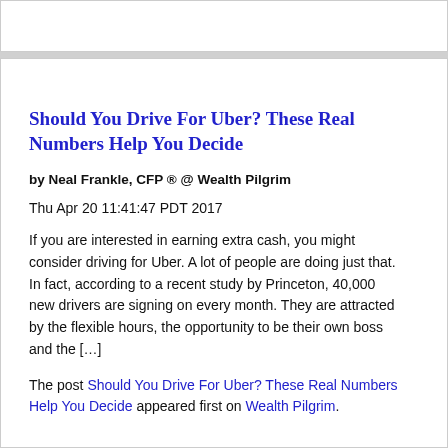Should You Drive For Uber? These Real Numbers Help You Decide
by Neal Frankle, CFP ® @ Wealth Pilgrim
Thu Apr 20 11:41:47 PDT 2017
If you are interested in earning extra cash, you might consider driving for Uber. A lot of people are doing just that. In fact, according to a recent study by Princeton, 40,000 new drivers are signing on every month. They are attracted by the flexible hours, the opportunity to be their own boss and the […]
The post Should You Drive For Uber? These Real Numbers Help You Decide appeared first on Wealth Pilgrim.